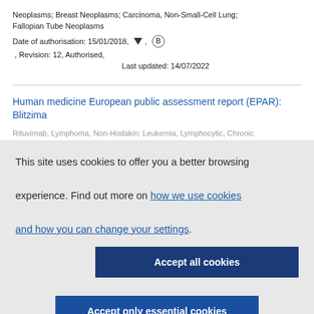Neoplasms; Breast Neoplasms; Carcinoma, Non-Small-Cell Lung; Fallopian Tube Neoplasms
Date of authorisation: 15/01/2018, [triangle], [B-circle], Revision: 12, Authorised, Last updated: 14/07/2022
Human medicine European public assessment report (EPAR): Blitzima
Rituvimab, Lymphoma, Non-Hodakin; Leukemia, Lymphocytic, Chronic
This site uses cookies to offer you a better browsing experience. Find out more on how we use cookies and how you can change your settings.
Accept all cookies
Accept only essential cookies